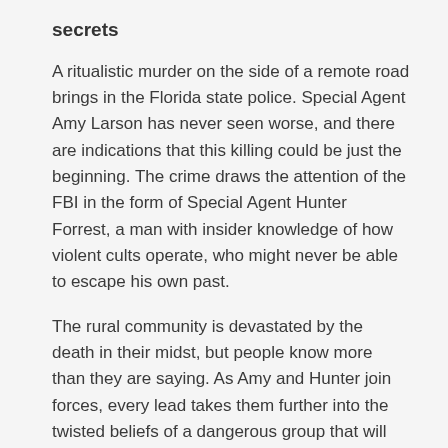secrets
A ritualistic murder on the side of a remote road brings in the Florida state police. Special Agent Amy Larson has never seen worse, and there are indications that this killing could be just the beginning. The crime draws the attention of the FBI in the form of Special Agent Hunter Forrest, a man with insider knowledge of how violent cults operate, who might never be able to escape his own past.
The rural community is devastated by the death in their midst, but people know more than they are saying. As Amy and Hunter join forces, every lead takes them further into the twisted beliefs of a dangerous group that will stop at nothing to see their will done.
Doomsday preppers and small-town secrets collide in this sultry, twisty page-turning thriller.